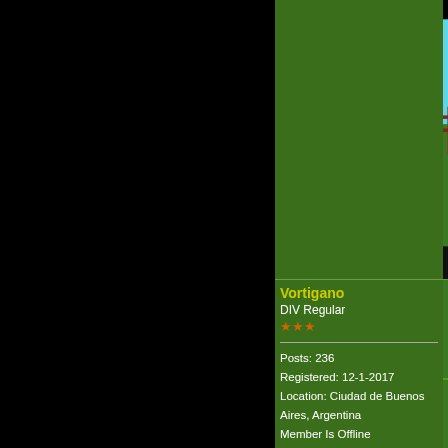[Figure (screenshot): Game screenshot showing a 2D side-scrolling scene with green hills, trees, a fence, blue sky and clouds, and a small character running]
Btw the background loc
profile   find
Vortigano
DIV Regular
★★★
posted on 11-4-2022 a
Posts: 236
Registered: 12-1-2017
Location: Ciudad de Buenos Aires, Argentina
Member Is Offline
I like it 🙂